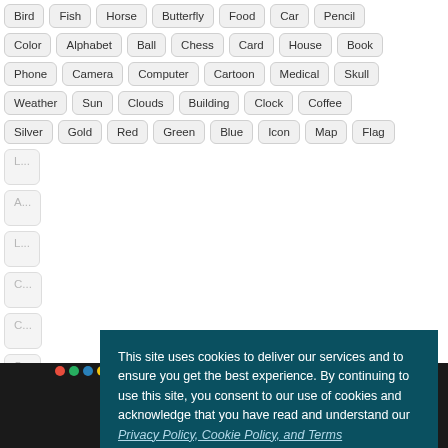Bird, Fish, Horse, Butterfly, Food, Car, Pencil
Color, Alphabet, Ball, Chess, Card, House, Book
Phone, Camera, Computer, Cartoon, Medical, Skull
Weather, Sun, Clouds, Building, Clock, Coffee
Silver, Gold, Red, Green, Blue, Icon, Map, Flag
This site uses cookies to deliver our services and to ensure you get the best experience. By continuing to use this site, you consent to our use of cookies and acknowledge that you have read and understand our Privacy Policy, Cookie Policy, and Terms
Accept
[Figure (screenshot): Bottom browser extension/add-on/plugin logos bar on dark background with logos for various browsers and WordPress]